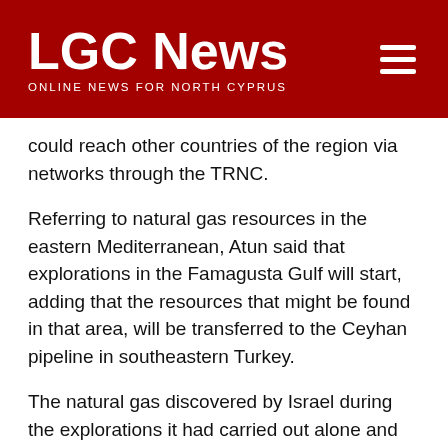LGC News — ONLINE NEWS FOR NORTH CYPRUS
could reach other countries of the region via networks through the TRNC.
Referring to natural gas resources in the eastern Mediterranean, Atun said that explorations in the Famagusta Gulf will start, adding that the resources that might be found in that area, will be transferred to the Ceyhan pipeline in southeastern Turkey.
The natural gas discovered by Israel during the explorations it had carried out alone and with South Cyprus is in commercially viable quantities, but only if it is transferred through the Ceyhan pipeline, then it could be purchased by the EU. “This means that the most practical, the most feasible way is to connect to our pipeline or to use our route”, he noted. This will make the TRNC an